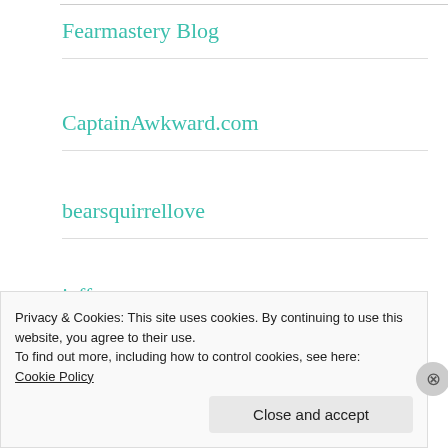Fearmastery Blog
CaptainAwkward.com
bearsquirrellove
jeffersonprep
On the Road with Humpty Dumpty
Privacy & Cookies: This site uses cookies. By continuing to use this website, you agree to their use.
To find out more, including how to control cookies, see here:
Cookie Policy
Close and accept